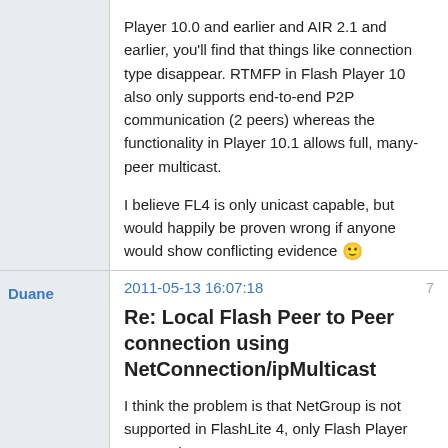Player 10.0 and earlier and AIR 2.1 and earlier, you'll find that things like connection type disappear. RTMFP in Flash Player 10 also only supports end-to-end P2P communication (2 peers) whereas the functionality in Player 10.1 allows full, many-peer multicast.

I believe FL4 is only unicast capable, but would happily be proven wrong if anyone would show conflicting evidence 🙂
Duane
2011-05-13 16:07:18
7
Re: Local Flash Peer to Peer connection using NetConnection/ipMulticast
I think the problem is that NetGroup is not supported in FlashLite 4, only Flash Player 10.x and AIR 2